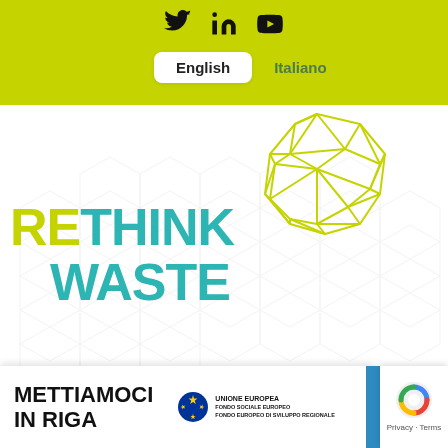[Figure (screenshot): Green navigation bar with social media icons (Twitter, LinkedIn, YouTube) and language selector showing English (selected) and Italiano options]
[Figure (logo): RETHINK WASTE logo with geometric brain/polygon illustration in yellow-green. RE in yellow-green, THINK WASTE in teal/cyan color.]
[Figure (other): Hamburger menu icon (three horizontal lines)]
[Figure (other): Bottom strip showing METTIAMOCI IN RIGA text, EU logo with UNIONE EUROPEA text, and reCAPTCHA badge with Privacy and Terms links]